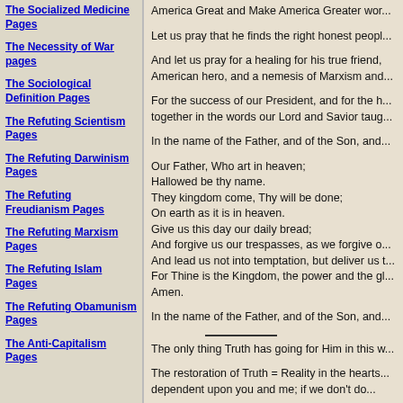The Socialized Medicine Pages
The Necessity of War pages
The Sociological Definition Pages
The Refuting Scientism Pages
The Refuting Darwinism Pages
The Refuting Freudianism Pages
The Refuting Marxism Pages
The Refuting Islam Pages
The Refuting Obamunism Pages
The Anti-Capitalism Pages
America Great and Make America Greater wor...
Let us pray that he finds the right honest peopl...
And let us pray for a healing for his true friend, American hero, and a nemesis of Marxism and...
For the success of our President, and for the h... together in the words our Lord and Savior taug...
In the name of the Father, and of the Son, and...
Our Father, Who art in heaven;
Hallowed be thy name.
They kingdom come, Thy will be done;
On earth as it is in heaven.
Give us this day our daily bread;
And forgive us our trespasses, as we forgive o...
And lead us not into temptation, but deliver us t...
For Thine is the Kingdom, the power and the gl...
Amen.
In the name of the Father, and of the Son, and...
The only thing Truth has going for Him in this w...
The restoration of Truth = Reality in the hearts... dependent upon you and me; if we don't do...